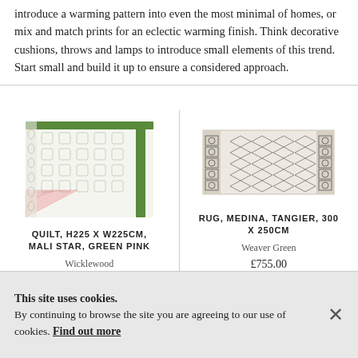introduce a warming pattern into even the most minimal of homes, or mix and match prints for an eclectic warming finish. Think decorative cushions, throws and lamps to introduce small elements of this trend. Start small and build it up to ensure a considered approach.
[Figure (photo): A folded quilt with green border and white/green geometric Mali Star pattern, with pink interior visible]
QUILT, H225 X W225CM, MALI STAR, GREEN PINK
Wicklewood
£235.00
[Figure (photo): A flat rug with grey geometric diamond and hexagon pattern, Medina Tangier design, 300 x 250cm]
RUG, MEDINA, TANGIER, 300 X 250CM
Weaver Green
£755.00
This site uses cookies. By continuing to browse the site you are agreeing to our use of cookies. Find out more